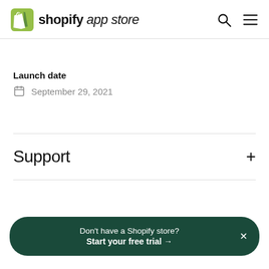shopify app store
Launch date
September 29, 2021
Support
Don't have a Shopify store? Start your free trial →